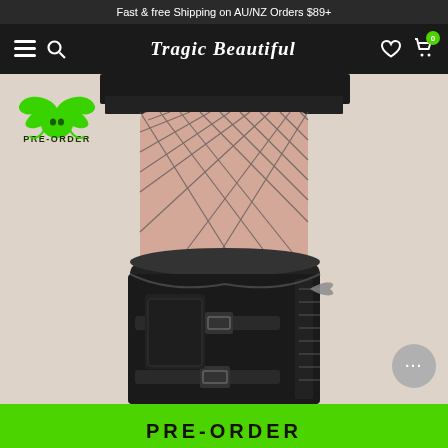Fast & free Shipping on AU/NZ Orders $89+
[Figure (logo): Tragic Beautiful gothic fashion store logo and navigation bar with hamburger menu, search icon, heart icon, and cart with badge showing 0]
[Figure (photo): Close-up photo of legs wearing black thigh-high lace-up boots with buckles over fishnet stockings, with a short black patent leather skirt. Pre-order bat badge in bright green overlaid on top-left.]
PRE-ORDER